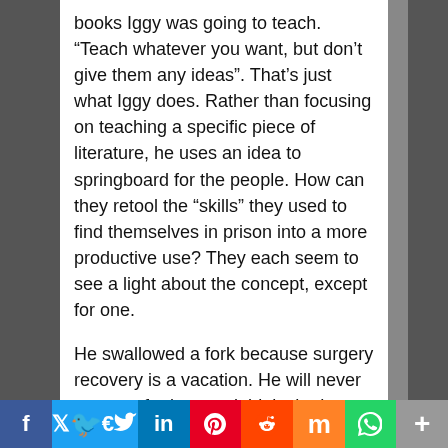books Iggy was going to teach. “Teach whatever you want, but don’t give them any ideas”. That’s just what Iggy does. Rather than focusing on teaching a specific piece of literature, he uses an idea to springboard for the people. How can they retool the “skills” they used to find themselves in prison into a more productive use? They each seem to see a light about the concept, except for one.
He swallowed a fork because surgery recovery is a vacation. He will never get out of prison and thinks he has nothing to offer. Do you think Iggy agrees? Of course not, Iggy sees the man’s intelligence and offers to help him train to teach the classes at the prison. No one had ever told him he was smart. Dr. Iggy Frome will always find the good in people.